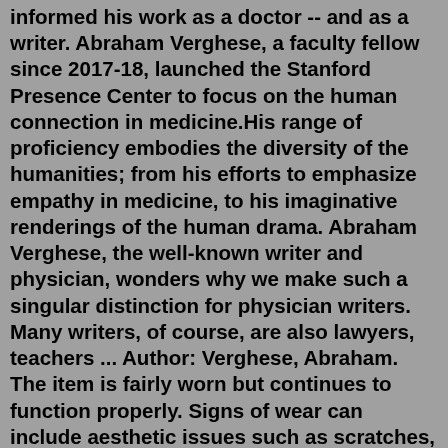informed his work as a doctor -- and as a writer. Abraham Verghese, a faculty fellow since 2017-18, launched the Stanford Presence Center to focus on the human connection in medicine.His range of proficiency embodies the diversity of the humanities; from his efforts to emphasize empathy in medicine, to his imaginative renderings of the human drama. Abraham Verghese, the well-known writer and physician, wonders why we make such a singular distinction for physician writers. Many writers, of course, are also lawyers, teachers ... Author: Verghese, Abraham. The item is fairly worn but continues to function properly. Signs of wear can include aesthetic issues such as scratches, dents, and worn corners. The item may have identifying markings, highlights, writing on it or show other signs of previous use.When Abraham Verghese, a physician whose marriage is unravelling, relocates to Texas, he hopes to make a fresh start as a staff member at a county hospital. There he meets David Smith, a medical student recovering from a drug addiction